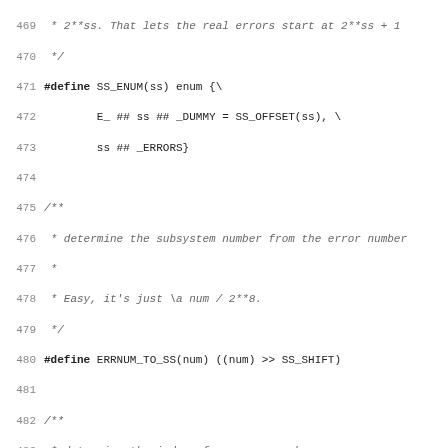Source code listing lines 469-501 showing C preprocessor macros and Doxygen comments for error subsystem handling (SS_ENUM, ERRNUM_TO_SS, ERRNUM_TO_INDEX, PARA_STRERROR macros)